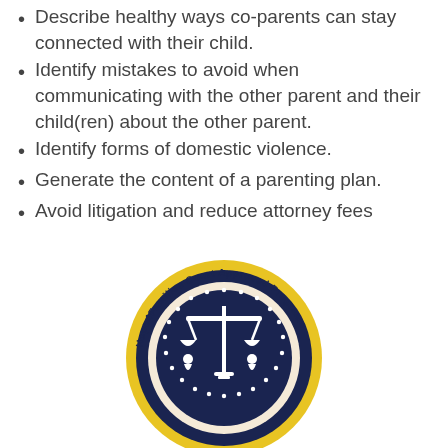Describe healthy ways co-parents can stay connected with their child.
Identify mistakes to avoid when communicating with the other parent and their child(ren) about the other parent.
Identify forms of domestic violence.
Generate the content of a parenting plan.
Avoid litigation and reduce attorney fees
[Figure (logo): Hope4Families Court Approved Programs circular seal/badge with dark navy blue background, gold/yellow outer ring, stars decorating inner circle, and scales of justice with two children silhouettes in the center.]